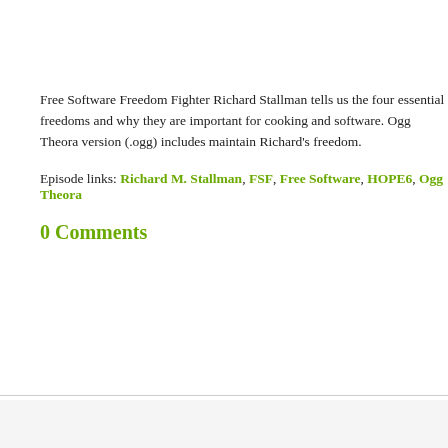Free Software Freedom Fighter Richard Stallman tells us the four essential freedoms and why they are important for cooking and software. Ogg Theora version (.ogg) inclu... maintain Richard's freedom.
Episode links: Richard M. Stallman, FSF, Free Software, HOPE6, Ogg Theora
0 Comments
THE GREEN MARINEE TEMPLATE BY IAN MAIN - BUILT FOR WORDPRESS